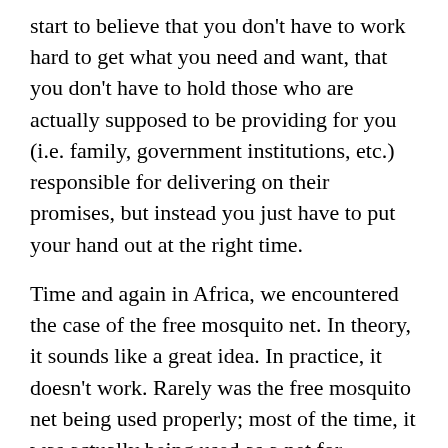start to believe that you don't have to work hard to get what you need and want, that you don't have to hold those who are actually supposed to be providing for you (i.e. family, government institutions, etc.) responsible for delivering on their promises, but instead you just have to put your hand out at the right time.
Time and again in Africa, we encountered the case of the free mosquito net. In theory, it sounds like a great idea. In practice, it doesn't work. Rarely was the free mosquito net being used properly; most of the time, it was actually being used as a net for catching fish, birds, or other animals that could be turned into dinner. I'm not saying that's a completely invalid use; I'm just saying that using the net in such a way doesn't help prevent malaria. And as far as I'm aware, that's what all these charities giving away the nets are trying to do.
So what's the answer then? Should we deny people the